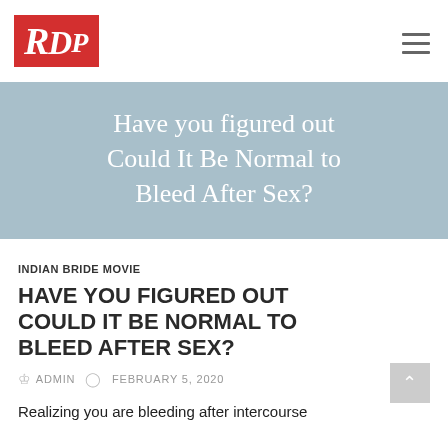[Figure (logo): RDP logo in red box with italic serif lettering]
Have you figured out Could It Be Normal to Bleed After Sex?
INDIAN BRIDE MOVIE
HAVE YOU FIGURED OUT COULD IT BE NORMAL TO BLEED AFTER SEX?
ADMIN   FEBRUARY 5, 2020
Realizing you are bleeding after intercourse